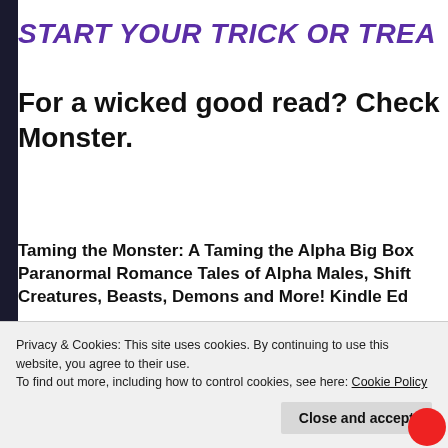START YOUR TRICK OR TREA
For a wicked good read?  Check Monster.
Taming the Monster: A Taming the Alpha Big Box Paranormal Romance Tales of Alpha Males, Shift Creatures, Beasts, Demons and More! Kindle Ed
USA TODAY BESTSELLER!
Monsters Need Love Too…
Privacy & Cookies: This site uses cookies. By continuing to use this website, you agree to their use.
To find out more, including how to control cookies, see here: Cookie Policy
Close and accept